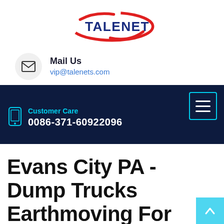[Figure (logo): Talenet logo with red swoosh and dark blue bold text]
Mail Us
vip@talenets.com
Customer Care
0086-371-60922096
Evans City PA - Dump Trucks Earthmoving For